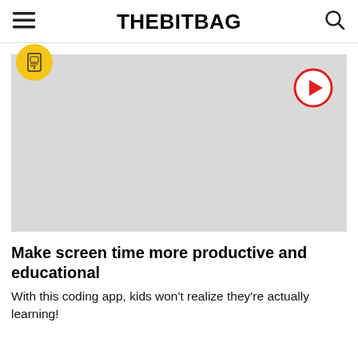THEBITBAG
[Figure (screenshot): Video placeholder with a yellow circular badge icon in the top-left and a red play button circle in the top-right, on a light gray background.]
Make screen time more productive and educational
With this coding app, kids won't realize they're actually learning!